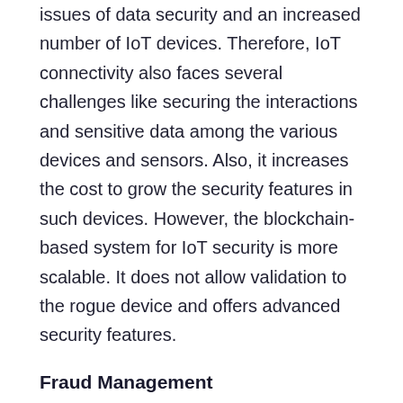issues of data security and an increased number of IoT devices. Therefore, IoT connectivity also faces several challenges like securing the interactions and sensitive data among the various devices and sensors. Also, it increases the cost to grow the security features in such devices. However, the blockchain-based system for IoT security is more scalable. It does not allow validation to the rogue device and offers advanced security features.
Fraud Management
The telecommunication industry also faces a massive number of fraudulent schemes or offers every year. According to the CFCA, fraudulent activities cause 38.1 billion dollars lost every year.